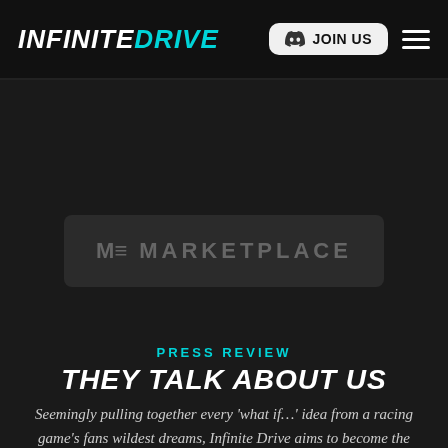INFINITEDRIVE — JOIN US navigation header
[Figure (logo): INFINITE DRIVE logo in white and cyan italic bold text]
[Figure (other): JOIN US button with Discord icon in light rounded rectangle]
[Figure (other): Hamburger menu icon with three white horizontal lines]
[Figure (screenshot): Marketplace banner — dark rectangular button with MC icon and MARKETPLACE text in gray]
PRESS REVIEW
THEY TALK ABOUT US
Seemingly pulling together every 'what if…' idea from a racing game's fans wildest dreams, Infinite Drive aims to become the metaverse's premier (and premium) racing experience. And with ideas by the